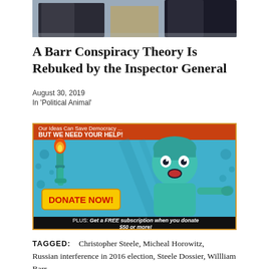[Figure (photo): Cropped photo showing two people in suits, partially visible at top of page]
A Barr Conspiracy Theory Is Rebuked by the Inspector General
August 30, 2019
In 'Political Animal'
[Figure (illustration): Donation advertisement banner. Header: 'Our Ideas Can Save Democracy ... BUT WE NEED YOUR HELP!' Blue illustrated background with Statue of Liberty holding torch and distressed figure. Yellow 'DONATE NOW!' button. Bottom bar: 'PLUS: Get a FREE subscription when you donate $50 or more!']
TAGGED:    Christopher Steele, Micheal Horowitz, Russian interference in 2016 election, Steele Dossier, Willliam Barr